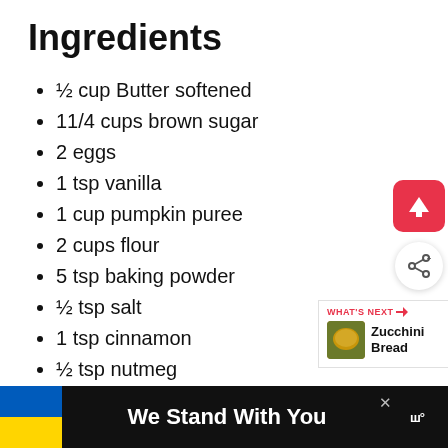Ingredients
½ cup Butter softened
11/4 cups brown sugar
2 eggs
1 tsp vanilla
1 cup pumpkin puree
2 cups flour
5 tsp baking powder
½ tsp salt
1 tsp cinnamon
½ tsp nutmeg
¼ tsp ginger
1 cup raisins
1 cup of nuts, I usually use walnuts or
[Figure (other): Red scroll-to-top button with white upward arrow]
[Figure (other): White circular share button with share icon]
[Figure (other): What's Next panel showing Zucchini Bread with thumbnail]
[Figure (other): Bottom advertisement bar: Ukrainian flag, We Stand With You text, close button, and logo]